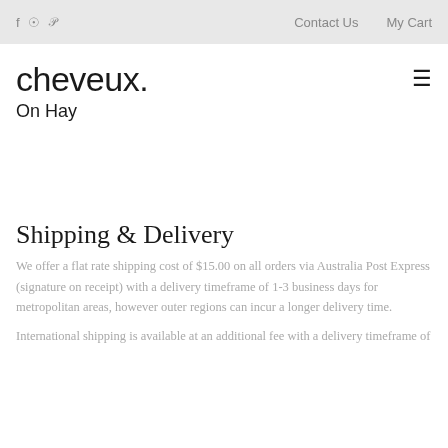f  ⓘ  p    Contact Us    My Cart
cheveux.
On Hay
Shipping & Delivery
We offer a flat rate shipping cost of $15.00 on all orders via Australia Post Express (signature on receipt) with a delivery timeframe of 1-3 business days for metropolitan areas, however outer regions can incur a longer delivery time.
International shipping is available at an additional fee with a delivery timeframe of